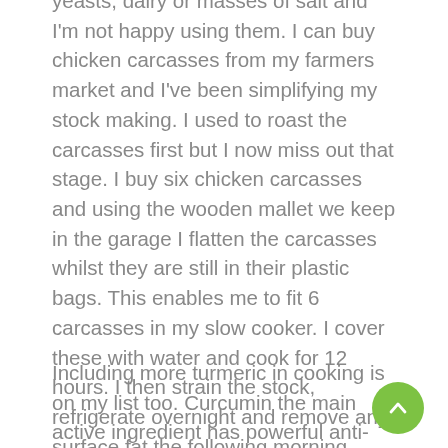yeasts, dairy or masses of salt and I'm not happy using them. I can buy chicken carcasses from my farmers market and I've been simplifying my stock making. I used to roast the carcasses first but I now miss out that stage. I buy six chicken carcasses and using the wooden mallet we keep in the garage I flatten the carcasses whilst they are still in their plastic bags. This enables me to fit 6 carcasses in my slow cooker. I cover these with water and cook for 12 hours. I then strain the stock, refrigerate overnight and remove any surface fat the following morning before decanting into small containers and freezing. It makes such a difference to have fresh stock for recipes and feels so much better than using a cube.
Including more turmeric in cooking is on my list too. Curcumin the main active ingredient has powerful anti-inflammatory effects and is a strong antioxidant and is often termed a